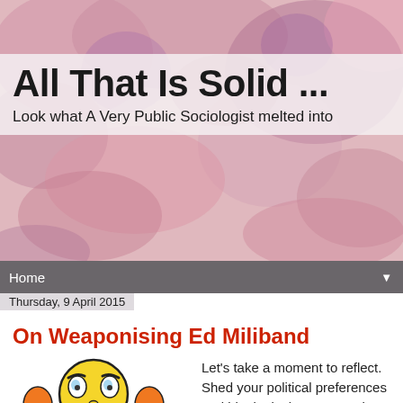[Figure (illustration): Watercolor abstract background in pinks, purples and reds for blog header]
All That Is Solid ...
Look what A Very Public Sociologist melted into
Home
Thursday, 9 April 2015
On Weaponising Ed Miliband
[Figure (illustration): Cartoon angry emoji face character with orange ear-like appendages and blue feet, with 'tinynic' text logo below]
Let's take a moment to reflect. Shed your political preferences and ideological preconceptions and scan an unjaundiced eye over the respective